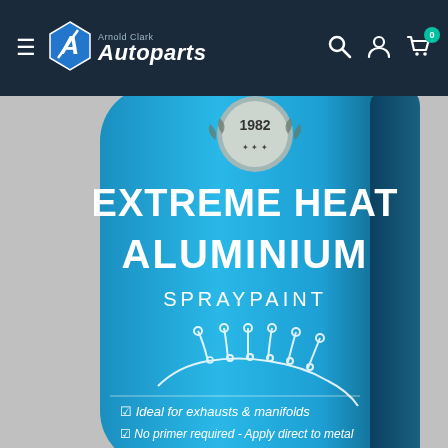Arnold Clark Autoparts — navigation bar with hamburger menu, logo, search, account, and cart icons
[Figure (photo): Close-up photo of a blue aerosol spray can labelled 'EXTREME HEAT ALUMINIUM SPRAYPAINT' with a silver badge dated 1982, an illustration of an exhaust manifold, and two checkmark bullet points reading 'Ideal for exhausts & manifolds' and 'No primer required - Apply direct to metal']